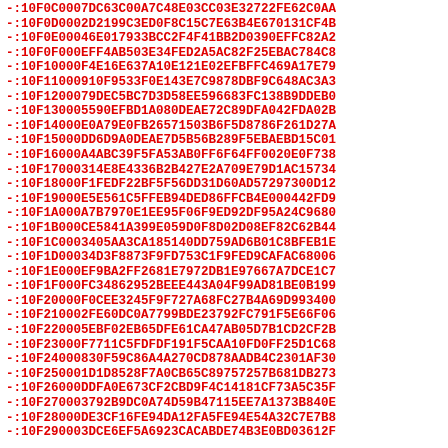-:10F0C0007DC63C00A7C48E03CC03E32722FE62C0AA
-:10F0D0002D2199C3ED0F8C15C7E63B4E670131CF4B
-:10F0E00046E017933BCC2F4F41BB2D0390EFFC82A2
-:10F0F000EFF4AB503E34FED2A5AC82F25EBAC784C8
-:10F10000F4E16E637A10E121E02EFBFFC469A17E79
-:10F11000910F9533F0E143E7C9878DBF9C648AC3A3
-:10F1200079DEC5BC7D3D58EE596683FC138B9DDEB0
-:10F130005590EFBD1A080DEAE72C89DFA042FDA02B
-:10F14000E0A79E0FB26571503B6F5D8786F261D27A
-:10F15000DD6D9A0DEAE7D5B56B289F5EBAEBD15C01
-:10F16000A4ABC39F5FA53AB0FF6F64FF0020E0F738
-:10F17000314E8E4336B2B427E2A709E79D1AC15734
-:10F18000F1FEDF22BF5F56DD31D60AD57297300D12
-:10F19000E5E561C5FFEB94DED86FFCB4E000442FD9
-:10F1A000A7B7970E1EE95F06F9ED92DF95A24C9680
-:10F1B000CE5841A399E059D0F8D02D08EF82C62B44
-:10F1C0003405AA3CA185140DD759AD6B01C8BFEB1E
-:10F1D00034D3F8873F9FD753C1F9FED9CAFAC68006
-:10F1E000EF9BA2FF2681E7972DB1E97667A7DCE1C7
-:10F1F000FC34862952BEEE443A04F99AD81BE0B199
-:10F20000F0CEE3245F9F727A68FC27B4A69D993400
-:10F210002FE60DC0A7799BDE23792FC791F5E66F06
-:10F220005EBF02EB65DFE61CA47AB05D7B1CD2CF2B
-:10F23000F7711C5FDFDF191F5CAA10FD0FF25D1C68
-:10F24000830F59C86A4A270CD878AADB4C2301AF30
-:10F250001D1D8528F7A0CB65C89757257B681DB273
-:10F26000DDFA0E673CF2CBD9F4C14181CF73A5C35F
-:10F270003792B9DC0A74D59B47115EE7A1373B840E
-:10F28000DE3CF16FE94DA12FA5FE94E54A32C7E7B8
-:10F290003DCE6EF5A6923CACABDE74B3E0BD03612F